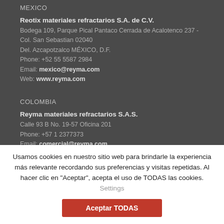MEXICO
Reotix materiales refractarios S.A. de C.V.
Bodega 109, Parque Pical Pantaco Cerrada de Acalotenco 237 -
Col. San Sebastian 02040
Del. Azcapotzalco MÉXICO, D.F.
Phone: +52 55 5587 2984
Email: mexico@reyma.com
Web: www.reyma.com
COLOMBIA
Reyma materiales refractarios S.A.S.
Calle 93 B No. 19-57 Oficina 201
Phone: +57 1 2377373
Email: comercial@reyma.com
Usamos cookies en nuestro sitio web para brindarle la experiencia más relevante recordando sus preferencias y visitas repetidas. Al hacer clic en "Aceptar", acepta el uso de TODAS las cookies. Settings
Aceptar TODAS